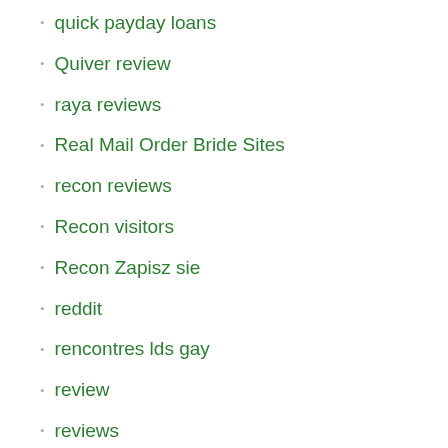quick payday loans
Quiver review
raya reviews
Real Mail Order Bride Sites
recon reviews
Recon visitors
Recon Zapisz sie
reddit
rencontres lds gay
review
reviews
Rhode Island instant payday loans